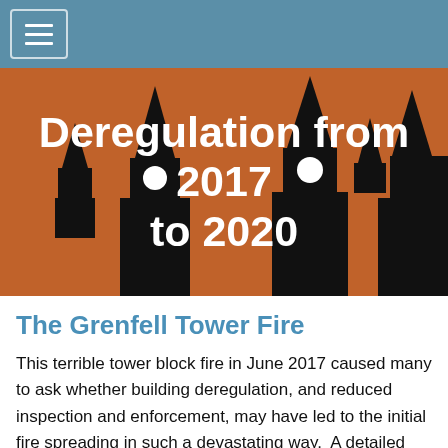[Figure (screenshot): Navigation bar with hamburger menu icon on steel blue background]
[Figure (illustration): Orange banner with white bold text 'Deregulation from 2017 to 2020' overlaid on black Big Ben / tower silhouettes]
The Grenfell Tower Fire
This terrible tower block fire in June 2017 caused many to ask whether building deregulation, and reduced inspection and enforcement, may have led to the initial fire spreading in such a devastating way.  A detailed examination of the issues will be found here, updated from time to time as more facts and analysis become